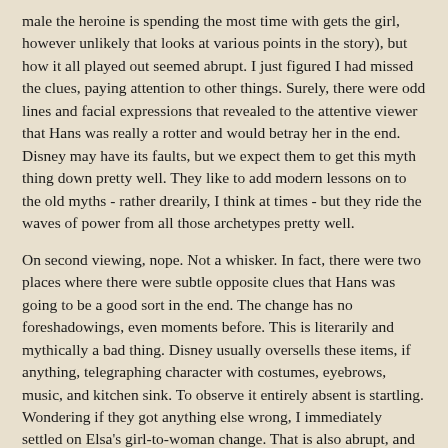male the heroine is spending the most time with gets the girl, however unlikely that looks at various points in the story), but how it all played out seemed abrupt.  I just figured I had missed the clues, paying attention to other things. Surely, there were odd lines and facial expressions that revealed to the attentive viewer that Hans was really a rotter and would betray her in the end. Disney may have its faults, but we expect them to get this myth thing down pretty well.  They like to add modern lessons on to the old myths - rather drearily, I think at times - but they ride the waves of power from all those archetypes pretty well.
On second viewing, nope.  Not a whisker.  In fact, there were two places where there were subtle opposite clues that Hans was going to be a good sort in the end.  The change has no foreshadowings, even moments before.  This is literarily and mythically a bad thing.  Disney usually oversells these items, if anything, telegraphing character with costumes, eyebrows, music, and kitchen sink.  To observe it entirely absent is startling.  Wondering if they got anything else wrong, I immediately settled on Elsa's girl-to-woman change.  That is also abrupt, and the first images are not Snow Queen, but